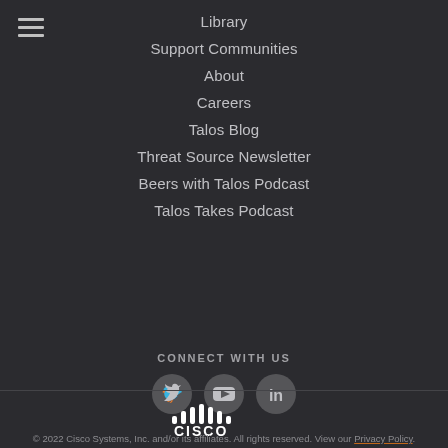Library
Support Communities
About
Careers
Talos Blog
Threat Source Newsletter
Beers with Talos Podcast
Talos Takes Podcast
CONNECT WITH US
[Figure (logo): Cisco logo with antenna icon above the word CISCO]
© 2022 Cisco Systems, Inc. and/or its affiliates. All rights reserved. View our Privacy Policy.